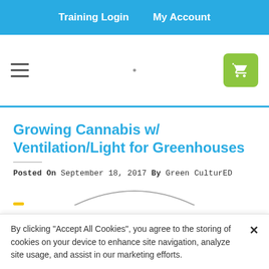Training Login   My Account
[Figure (screenshot): Navigation bar with hamburger menu icon on left, small dot in center, and green shopping cart button on right]
Growing Cannabis w/ Ventilation/Light for Greenhouses
Posted On September 18, 2017 By Green CulturED
[Figure (illustration): Partial view of an image showing a curved arc shape, partially obscured by cookie consent banner]
By clicking “Accept All Cookies”, you agree to the storing of cookies on your device to enhance site navigation, analyze site usage, and assist in our marketing efforts.